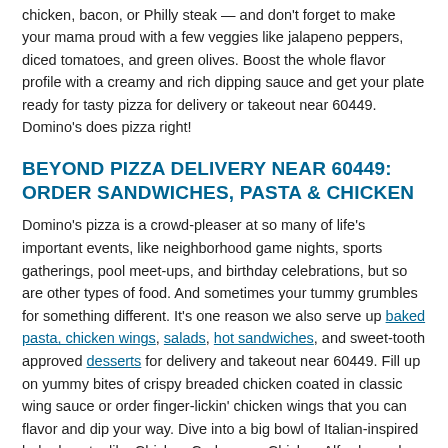chicken, bacon, or Philly steak — and don't forget to make your mama proud with a few veggies like jalapeno peppers, diced tomatoes, and green olives. Boost the whole flavor profile with a creamy and rich dipping sauce and get your plate ready for tasty pizza for delivery or takeout near 60449. Domino's does pizza right!
BEYOND PIZZA DELIVERY NEAR 60449: ORDER SANDWICHES, PASTA & CHICKEN
Domino's pizza is a crowd-pleaser at so many of life's important events, like neighborhood game nights, sports gatherings, pool meet-ups, and birthday celebrations, but so are other types of food. And sometimes your tummy grumbles for something different. It's one reason we also serve up baked pasta, chicken wings, salads, hot sandwiches, and sweet-tooth approved desserts for delivery and takeout near 60449. Fill up on yummy bites of crispy breaded chicken coated in classic wing sauce or order finger-lickin' chicken wings that you can flavor and dip your way. Dive into a big bowl of Italian-inspired baked pasta, like Chicken Carbonara, Chicken Alfredo, and Pasta Primavera.